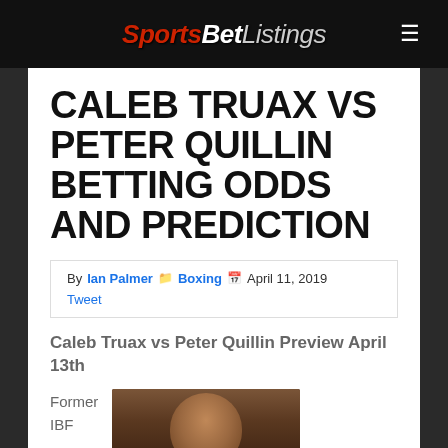SportsBetListings
CALEB TRUAX VS PETER QUILLIN BETTING ODDS AND PREDICTION
By Ian Palmer  Boxing  April 11, 2019 Tweet
Caleb Truax vs Peter Quillin Preview April 13th
Former IBF
[Figure (photo): Close-up photo of a boxer's face and head]